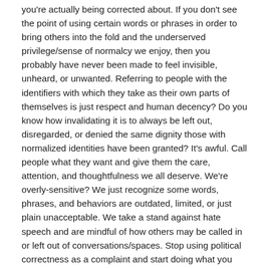you're actually being corrected about. If you don't see the point of using certain words or phrases in order to bring others into the fold and the underserved privilege/sense of normalcy we enjoy, then you probably have never been made to feel invisible, unheard, or unwanted. Referring to people with the identifiers with which they take as their own parts of themselves is just respect and human decency? Do you know how invalidating it is to always be left out, disregarded, or denied the same dignity those with normalized identities have been granted? It's awful. Call people what they want and give them the care, attention, and thoughtfulness we all deserve. We're overly-sensitive? We just recognize some words, phrases, and behaviors are outdated, limited, or just plain unacceptable. We take a stand against hate speech and are mindful of how others may be called in or left out of conversations/spaces. Stop using political correctness as a complaint and start doing what you should, that is celebrating diversity in all people and providing spaces for people to exist without fear of invalidation.